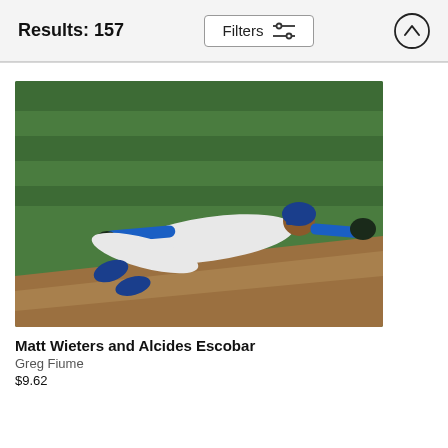Results: 157
[Figure (photo): Baseball player in Kansas City Royals uniform diving horizontally on a green outfield grass to catch a ball, with brown dirt visible in lower foreground. Player wearing blue helmet and blue sleeves extended.]
Matt Wieters and Alcides Escobar
Greg Fiume
$9.62